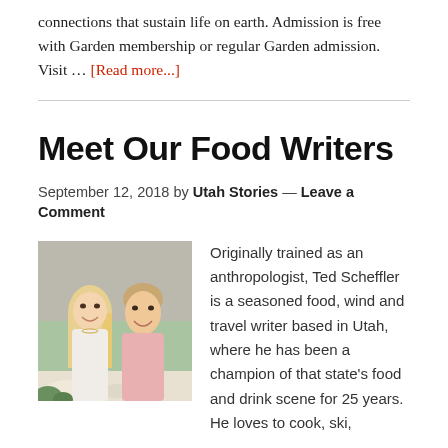connections that sustain life on earth. Admission is free with Garden membership or regular Garden admission. Visit … [Read more...]
Meet Our Food Writers
September 12, 2018 by Utah Stories — Leave a Comment
[Figure (photo): Photo of a young couple smiling at a restaurant table outdoors]
Originally trained as an anthropologist, Ted Scheffler is a seasoned food, wind and travel writer based in Utah, where he has been a champion of that state's food and drink scene for 25 years. He loves to cook, ski,